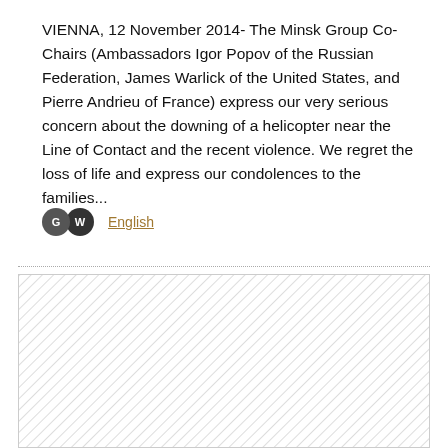VIENNA, 12 November 2014- The Minsk Group Co-Chairs (Ambassadors Igor Popov of the Russian Federation, James Warlick of the United States, and Pierre Andrieu of France) express our very serious concern about the downing of a helicopter near the Line of Contact and the recent violence. We regret the loss of life and express our condolences to the families...
English
[Figure (other): Hatched/striped rectangular placeholder area below a dotted divider line]